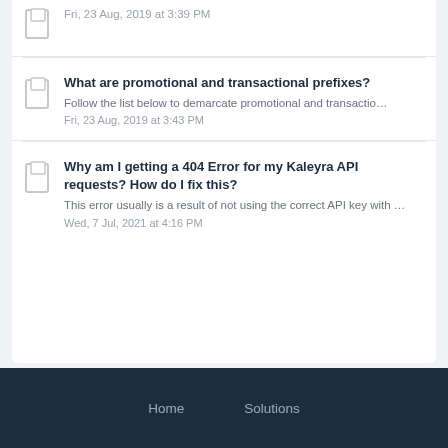Fri, 23 Aug, 2019 at 3:39 PM
What are promotional and transactional prefixes?
Follow the list below to demarcate promotional and transactio…
Fri, 23 Aug, 2019 at 3:43 PM
Why am I getting a 404 Error for my Kaleyra API requests? How do I fix this?
This error usually is a result of not using the correct API key with …
Wed, 7 Jul, 2021 at 4:16 PM
Home    Solutions